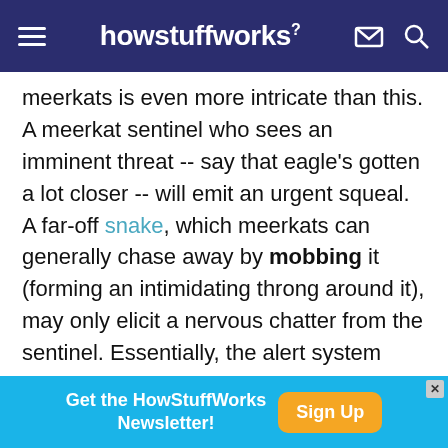howstuffworks
meerkats is even more intricate than this. A meerkat sentinel who sees an imminent threat -- say that eagle's gotten a lot closer -- will emit an urgent squeal. A far-off snake, which meerkats can generally chase away by mobbing it (forming an intimidating throng around it), may only elicit a nervous chatter from the sentinel. Essentially, the alert system signals to the others what the sentinel sees.

Body language also plays a major role in a dangerous situation. When a meerkat sentinel
[Figure (screenshot): Advertisement banner: Get the HowStuffWorks Newsletter! with a Sign Up button]